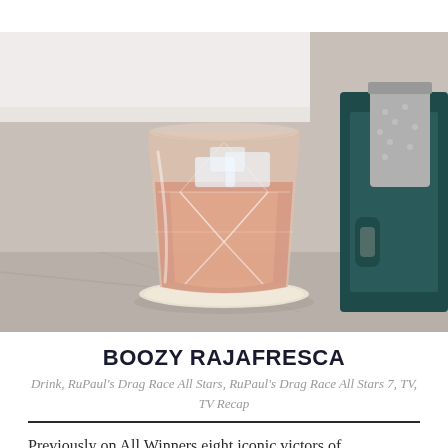[Figure (photo): A crystal cut rocks glass filled with a pinkish-orange cocktail with ice, sitting on a round coaster on a marble surface. A dark teal serving tray and a silver ice bucket are visible in the background.]
BOOZY RAJAFRESCA
Drink, RuPaul's Drag Race All Stars, RuPaul's Drag Race All Stars 7, TV, TV Recap
Previously on All Winners eight iconic victors of